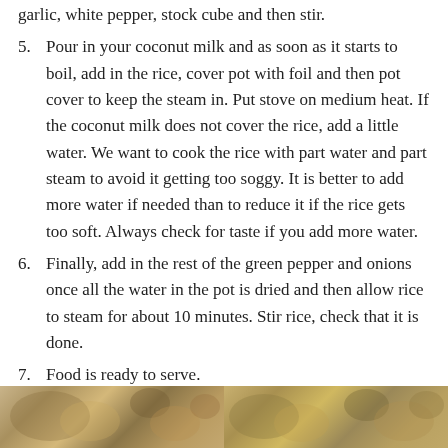garlic, white pepper, stock cube and then stir.
Pour in your coconut milk and as soon as it starts to boil, add in the rice, cover pot with foil and then pot cover to keep the steam in. Put stove on medium heat. If the coconut milk does not cover the rice, add a little water. We want to cook the rice with part water and part steam to avoid it getting too soggy. It is better to add more water if needed than to reduce it if the rice gets too soft. Always check for taste if you add more water.
Finally, add in the rest of the green pepper and onions once all the water in the pot is dried and then allow rice to steam for about 10 minutes. Stir rice, check that it is done.
Food is ready to serve.
[Figure (photo): Photo of cooked rice dish, two-panel strip at the bottom of the page]